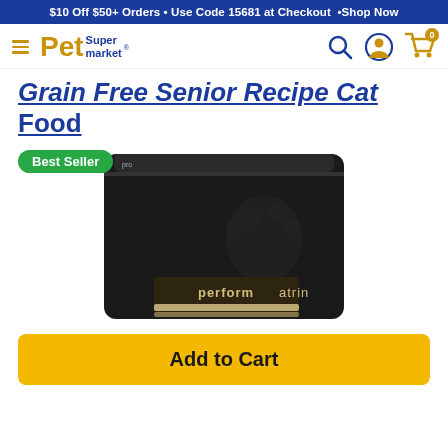$10 Off $50+ Orders • Use Code 15681 at Checkout • Shop Now
[Figure (logo): Pet Supermarket logo with hamburger menu icon]
Grain Free Senior Recipe Cat Food
[Figure (photo): Performatrin cat food bag product photo on white background, black bag with performatrin brand text visible]
Best Seller
Add to Cart